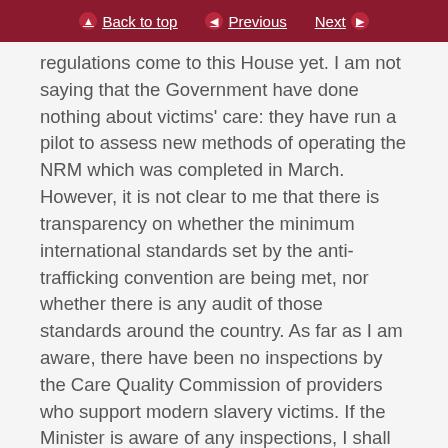Back to top  Previous  Next
regulations come to this House yet. I am not saying that the Government have done nothing about victims' care: they have run a pilot to assess new methods of operating the NRM which was completed in March. However, it is not clear to me that there is transparency on whether the minimum international standards set by the anti-trafficking convention are being met, nor whether there is any audit of those standards around the country. As far as I am aware, there have been no inspections by the Care Quality Commission of providers who support modern slavery victims. If the Minister is aware of any inspections, I shall look forward to hearing about the outcome.
In his speeches in 2015, the noble Lord, Lord McColl,